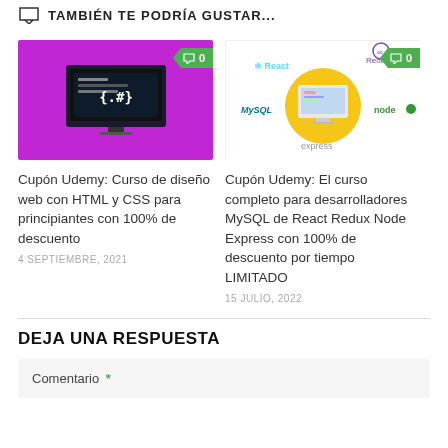TAMBIÉN TE PODRÍA GUSTAR...
[Figure (photo): Course thumbnail: pink/magenta background with a computer monitor showing {.#} code symbols]
[Figure (illustration): Course thumbnail: React, Redux, MySQL, Node, Express logos around a computer screen on yellow circle]
Cupón Udemy: Curso de diseño web con HTML y CSS para principiantes con 100% de descuento
4 SEPTIEMBRE, 2021
Cupón Udemy: El curso completo para desarrolladores MySQL de React Redux Node Express con 100% de descuento por tiempo LIMITADO
15 JULIO, 2022
DEJA UNA RESPUESTA
Comentario *